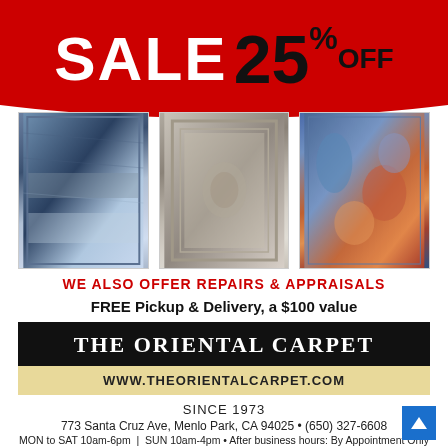SALE 25% OFF
[Figure (photo): Three oriental/modern rugs displayed side by side: left rug is blue/grey abstract, center rug is grey with traditional border pattern, right rug is colorful abstract with blue, red, and orange tones]
WE ALSO OFFER REPAIRS & APPRAISALS
FREE Pickup & Delivery, a $100 value
THE ORIENTAL CARPET
WWW.THEORIENTALCARPET.COM
SINCE 1973
773 Santa Cruz Ave, Menlo Park, CA 94025 • (650) 327-6608
MON to SAT 10am-6pm | SUN 10am-4pm • After business hours: By Appointment Only